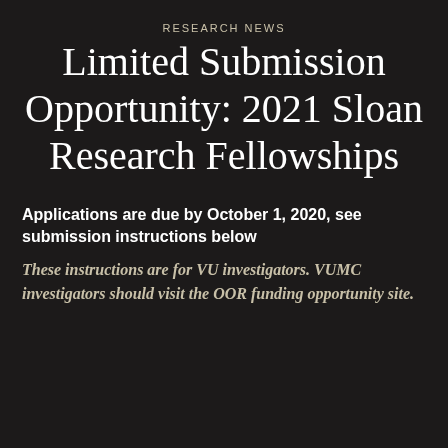RESEARCH NEWS
Limited Submission Opportunity: 2021 Sloan Research Fellowships
Applications are due by October 1, 2020, see submission instructions below
These instructions are for VU investigators. VUMC investigators should visit the OOR funding opportunity site.
We use our own and third-party cookies to personalize content and to analyze web traffic. Learn more
Vanderbilt University encourages investigators to the